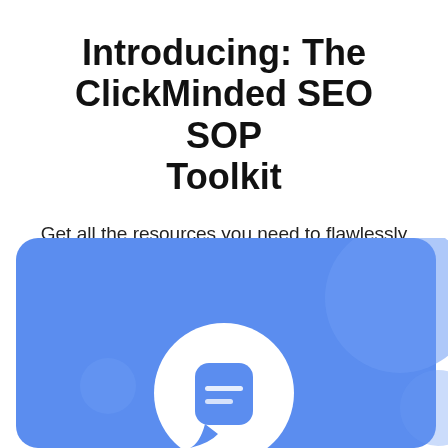Introducing: The ClickMinded SEO SOP Toolkit
Get all the resources you need to flawlessly execute powerful SEO tactics with 99% accuracy.
[Figure (illustration): Blue rounded rectangle card with decorative circles and a white circular icon containing a blue chat/document icon with lines, representing the SEO SOP Toolkit branding graphic.]